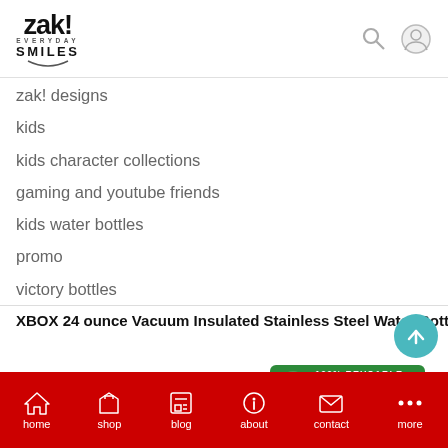zak! EVERYDAY SMILES
zak! designs
kids
kids character collections
gaming and youtube friends
kids water bottles
promo
victory bottles
XBOX 24 ounce Vacuum Insulated Stainless Steel Water Bottle, Ha
[Figure (photo): Green XBOX Halo-themed 24oz stainless steel water bottle with black lid, blue ring, gray handle, and '117' printed on the body. A green '100% Reusable' badge is visible in the upper right.]
home  shop  blog  about  contact  more